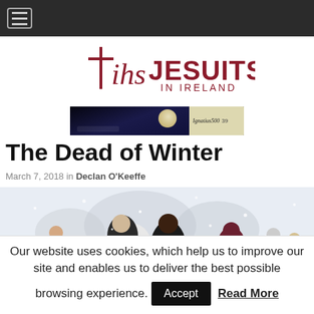Navigation bar with hamburger menu
[Figure (logo): IHS Jesuits in Ireland logo with cross and IHS monogram in dark red]
[Figure (photo): Advertisement banner with night sky and moon, text 'Ignatius500']
The Dead of Winter
March 7, 2018 in Declan O'Keeffe
[Figure (photo): People playing in snow during winter storm, snowy landscape with trees in background]
Our website uses cookies, which help us to improve our site and enables us to deliver the best possible browsing experience. Accept Read More